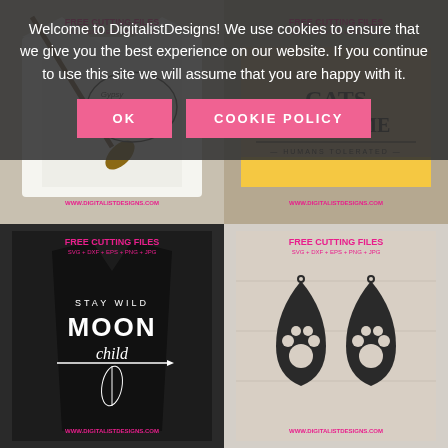[Figure (screenshot): Website product grid showing four free SVG cutting file designs: top-left is a witch/Halloween shirt design, top-right is a welcome doormat with sunflowers, bottom-left is Stay Wild Moon Child shirt design, bottom-right is paw print earring SVG design]
Welcome to DigitalistDesigns! We use cookies to ensure that we give you the best experience on our website. If you continue to use this site we will assume that you are happy with it.
OK
COOKIE POLICY